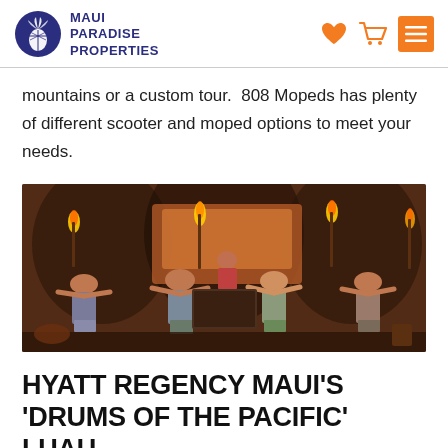MAUI PARADISE PROPERTIES
mountains or a custom tour.  808 Mopeds has plenty of different scooter and moped options to meet your needs.
[Figure (photo): Hawaiian luau performance with fire dancers in traditional dress performing on a stage with stone wall backdrop]
HYATT REGENCY MAUI'S 'DRUMS OF THE PACIFIC' LUAU